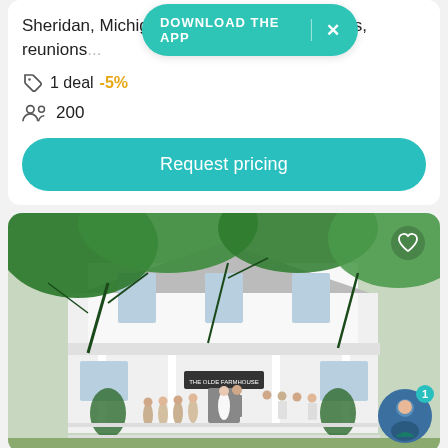Sheridan, Michigan. Specializing in weddings, reunions...
DOWNLOAD THE APP  ×
1 deal  -5%
200
Request pricing
[Figure (photo): Outdoor wedding ceremony in front of The Olde Farmhouse, a white two-story building with a covered porch, surrounded by large green trees. Bridal party and guests visible on the porch and grounds.]